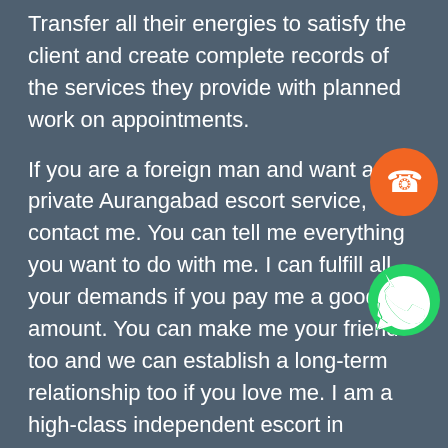Transfer all their energies to satisfy the client and create complete records of the services they provide with planned work on appointments.
If you are a foreign man and want a private Aurangabad escort service, contact me. You can tell me everything you want to do with me. I can fulfill all your demands if you pay me a good amount. You can make me your friend too and we can establish a long-term relationship too if you love me. I am a high-class independent escort in Aurangabad yet down-to-earth offer full respect to my client and that is why everyone loves me.
You can get escort girls in Aurangabad to get sexual services which will absorb your gadget like a lollipop and also you can get an agreed girl
[Figure (illustration): Orange circle phone call icon]
[Figure (illustration): Green WhatsApp icon]